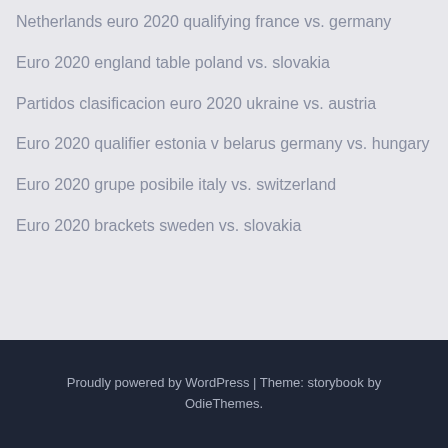Netherlands euro 2020 qualifying france vs. germany
Euro 2020 england table poland vs. slovakia
Partidos clasificacion euro 2020 ukraine vs. austria
Euro 2020 qualifier estonia v belarus germany vs. hungary
Euro 2020 grupe posibile italy vs. switzerland
Euro 2020 brackets sweden vs. slovakia
Proudly powered by WordPress | Theme: storybook by OdieThemes.